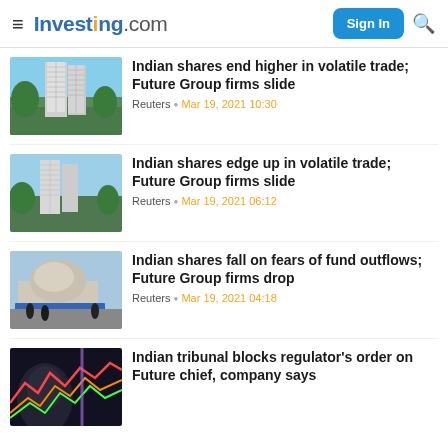Investing.com — Sign In
[Figure (photo): Photo of high-rise tower building with palm trees and blue sky, news thumbnail]
Indian shares end higher in volatile trade; Future Group firms slide
Reuters · Mar 19, 2021 10:30
[Figure (photo): Photo of high-rise tower building with palm trees and sky, news thumbnail]
Indian shares edge up in volatile trade; Future Group firms slide
Reuters · Mar 19, 2021 06:12
[Figure (photo): Photo of Bombay Stock Exchange building exterior with people in foreground]
Indian shares fall on fears of fund outflows; Future Group firms drop
Reuters · Mar 19, 2021 04:18
[Figure (photo): Dark photo with colorful chart lines and a person's face in background]
Indian tribunal blocks regulator's order on Future chief, company says